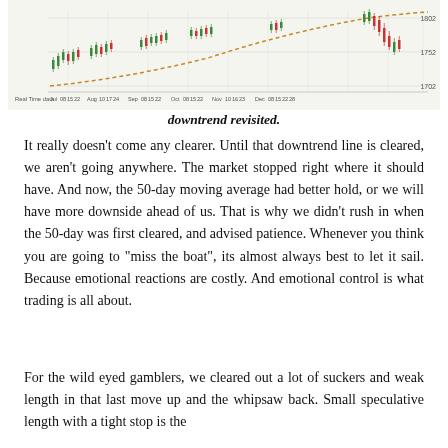[Figure (continuous-plot): Stock price chart showing candlesticks (red/green) and a rising dashed orange/brown trend line. X-axis shows dates from Jul through Dec with labels: Jul 08 15 22, Aug 10 17 24, Sep 08 15 22, Oct 08 15 22, Nov 10 16 23, Dec 08 15 22 28. Y-axis shows price levels 1702, 1752, 1802. Label 'Real Time data' at bottom left.]
downtrend revisited.
It really doesn’t come any clearer. Until that downtrend line is cleared, we aren’t going anywhere. The market stopped right where it should have. And now, the 50-day moving average had better hold, or we will have more downside ahead of us. That is why we didn’t rush in when the 50-day was first cleared, and advised patience. Whenever you think you are going to “miss the boat”, its almost always best to let it sail. Because emotional reactions are costly. And emotional control is what trading is all about.
For the wild eyed gamblers, we cleared out a lot of suckers and weak length in that last move up and the whipsaw back. Small speculative length with a tight stop is the